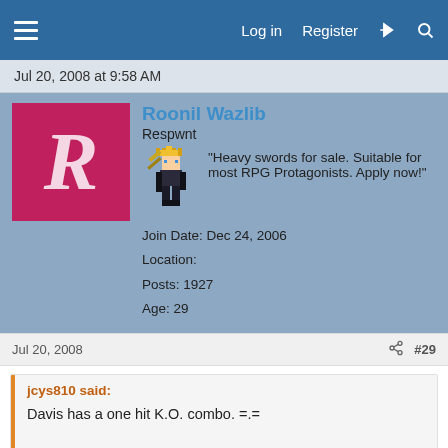Log in  Register
Jul 20, 2008 at 9:58 AM
Roonil Wazlib
Respwnt
"Heavy swords for sale. Suitable for most RPG Protagonists. Apply now!"
Join Date: Dec 24, 2006
Location:
Posts: 1927
Age: 29
Jul 20, 2008  #29
jcys810 said:
Davis has a one hit K.O. combo. =.=

And you don't need a wall for that.
That's not unbreakable though. You can break out of that easily